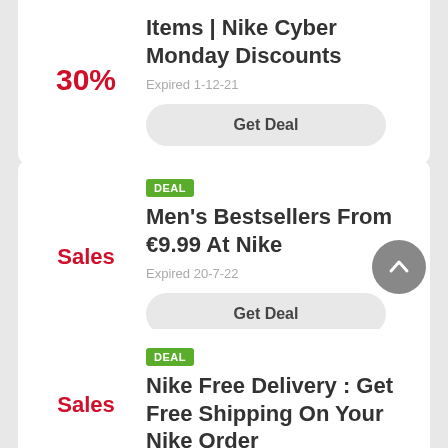30%
Items | Nike Cyber Monday Discounts
Expired 1-12-21
Get Deal
DEAL
Sales
Men's Bestsellers From €9.99 At Nike
Expired 20-7-22
Get Deal
DEAL
Nike Free Delivery : Get Free Shipping On Your Nike Order
Sales